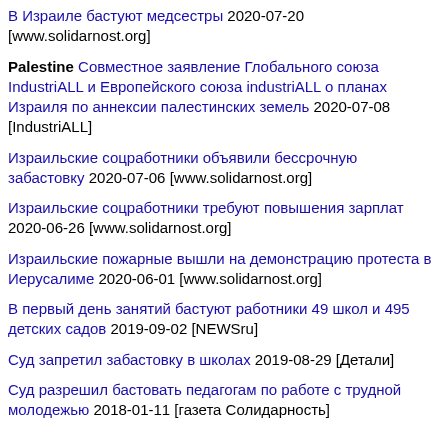В Израиле бастуют медсестры 2020-07-20 [www.solidarnost.org]
Palestine Совместное заявление Глобального союза IndustriALL и Европейского союза industriALL о планах Израиля по аннексии палестинских земель 2020-07-08 [IndustriALL]
Израильские соцработники объявили бессрочную забастовку 2020-07-06 [www.solidarnost.org]
Израильские соцработники требуют повышения зарплат 2020-06-26 [www.solidarnost.org]
Израильские пожарные вышли на демонстрацию протеста в Иерусалиме 2020-06-01 [www.solidarnost.org]
В первый день занятий бастуют работники 49 школ и 495 детских садов 2019-09-02 [NEWSru]
Суд запретил забастовку в школах 2019-08-29 [Детали]
Суд разрешил бастовать педагогам по работе с трудной молодежью 2018-01-11 [газета Солидарность]